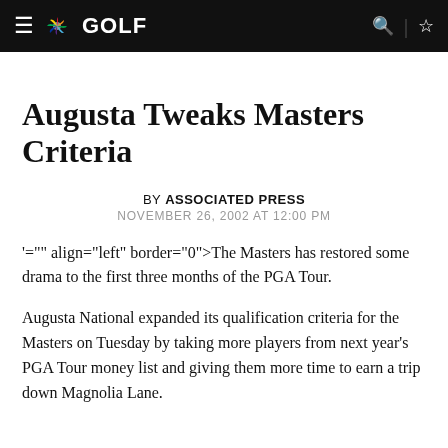NBC GOLF
Augusta Tweaks Masters Criteria
BY ASSOCIATED PRESS
NOVEMBER 26, 2002 AT 12:00 PM
'="" align="left" border="0">The Masters has restored some drama to the first three months of the PGA Tour.
Augusta National expanded its qualification criteria for the Masters on Tuesday by taking more players from next year's PGA Tour money list and giving them more time to earn a trip down Magnolia Lane.